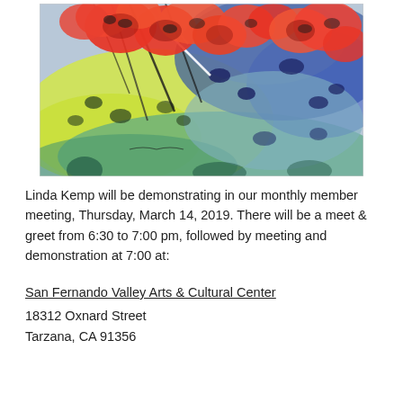[Figure (illustration): Watercolor painting of red and orange flowers with blue and yellow-green background, viewed from below looking up at blooms against sky.]
Linda Kemp will be demonstrating in our monthly member meeting, Thursday, March 14, 2019. There will be a meet & greet from 6:30 to 7:00 pm, followed by meeting and demonstration at 7:00 at:
San Fernando Valley Arts & Cultural Center
18312 Oxnard Street
Tarzana, CA 91356